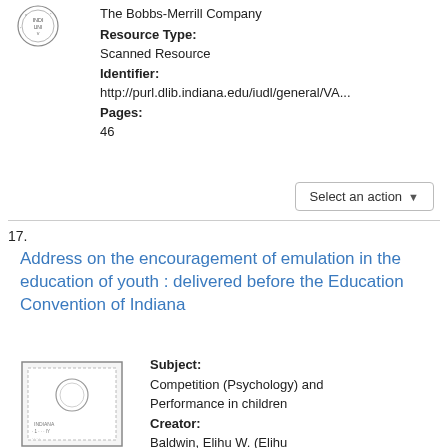[Figure (logo): Indiana University circular seal/logo stamp]
The Bobbs-Merrill Company
Resource Type:
Scanned Resource
Identifier:
http://purl.dlib.indiana.edu/iudl/general/VA...
Pages:
46
Select an action ▾
17.
Address on the encouragement of emulation in the education of youth : delivered before the Education Convention of Indiana
[Figure (illustration): Small thumbnail image of book/document cover with Indiana University stamp]
Subject:
Competition (Psychology) and Performance in children
Creator:
Baldwin, Elihu W. (Elihu Whittlesey), 1789-1840
Publisher: